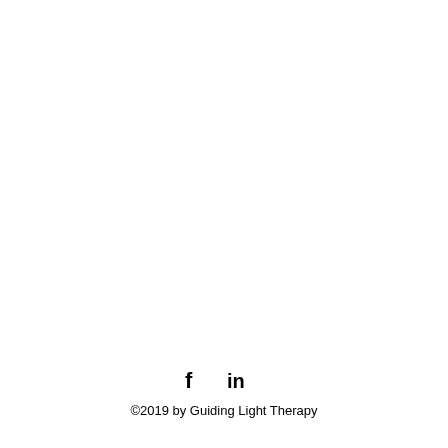[Figure (logo): Social media icons: Facebook 'f' and LinkedIn 'in' displayed in black]
©2019 by Guiding Light Therapy